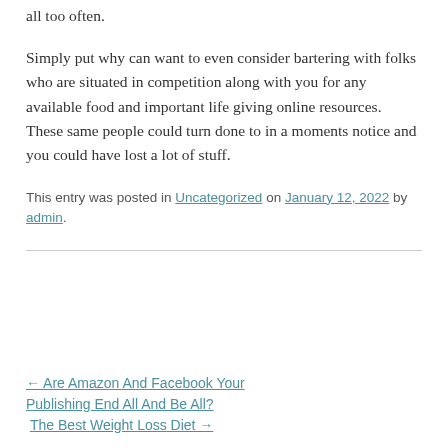all too often.
Simply put why can want to even consider bartering with folks who are situated in competition along with you for any available food and important life giving online resources. These same people could turn done to in a moments notice and you could have lost a lot of stuff.
This entry was posted in Uncategorized on January 12, 2022 by admin.
← Are Amazon And Facebook Your Publishing End All And Be All?
The Best Weight Loss Diet →